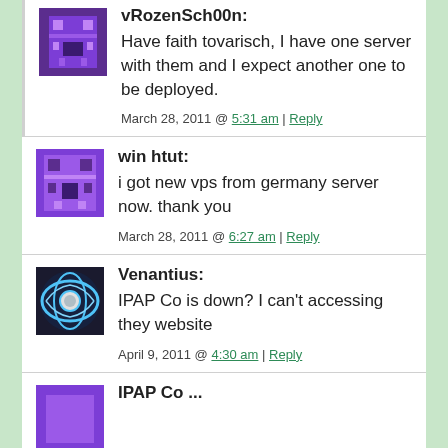vRozenSch00n: Have faith tovarisch, I have one server with them and I expect another one to be deployed. March 28, 2011 @ 5:31 am | Reply
win htut: i got new vps from germany server now. thank you March 28, 2011 @ 6:27 am | Reply
Venantius: IPAP Co is down? I can't accessing they website April 9, 2011 @ 4:30 am | Reply
IPAP Co ...